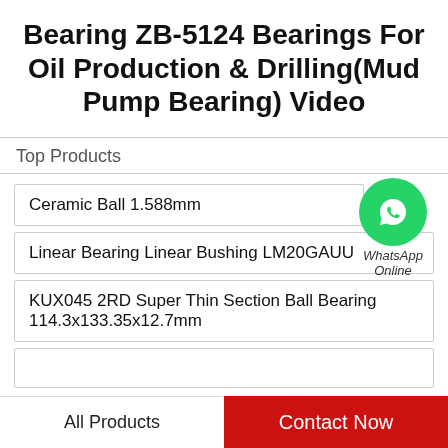Bearing ZB-5124 Bearings For Oil Production & Drilling(Mud Pump Bearing) Video
Top Products
Ceramic Ball 1.588mm
Linear Bearing Linear Bushing LM20GAUU
KUX045 2RD Super Thin Section Ball Bearing 114.3x133.35x12.7mm
[Figure (logo): WhatsApp Online green phone logo badge with text 'WhatsApp Online']
All Products    Contact Now